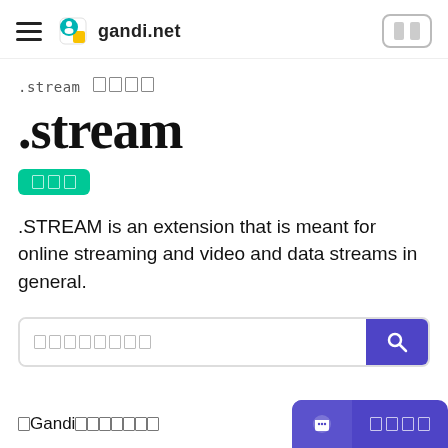gandi.net
.stream ドメイン
.stream
登録可能
.STREAM is an extension that is meant for online streaming and video and data streams in general.
ドメイン検索
GandiでのTLDの価格